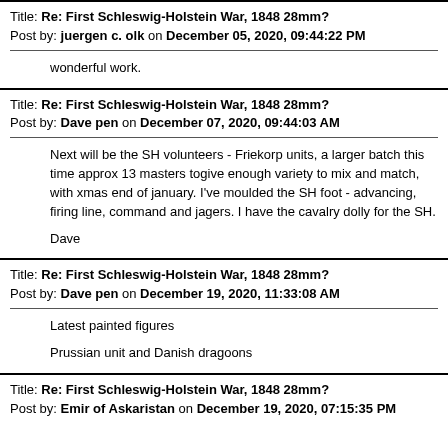Title: Re: First Schleswig-Holstein War, 1848 28mm?
Post by: juergen c. olk on December 05, 2020, 09:44:22 PM
wonderful work.
Title: Re: First Schleswig-Holstein War, 1848 28mm?
Post by: Dave pen on December 07, 2020, 09:44:03 AM
Next will be the SH volunteers - Friekorp units, a larger batch this time approx 13 masters togive enough variety to mix and match, with xmas end of january.  I've moulded the SH foot - advancing, firing line, command and jagers.  I have the cavalry dolly for the SH.

Dave
Title: Re: First Schleswig-Holstein War, 1848 28mm?
Post by: Dave pen on December 19, 2020, 11:33:08 AM
Latest painted figures

Prussian unit and Danish dragoons
Title: Re: First Schleswig-Holstein War, 1848 28mm?
Post by: Emir of Askaristan on December 19, 2020, 07:15:35 PM